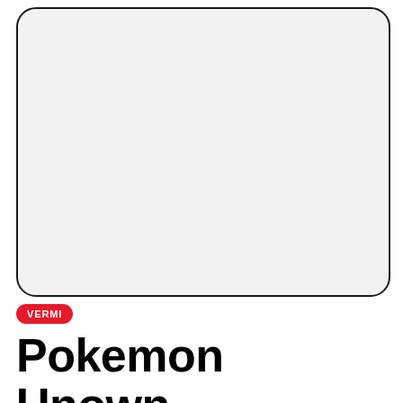[Figure (photo): Large rounded rectangle image placeholder with light gray background]
VERMI
Pokemon Unown Movie